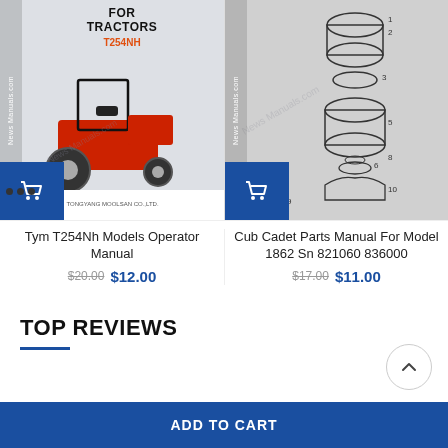[Figure (photo): Tym T254Nh tractor operator manual cover showing a red TYM tractor on a white/grey background with 'FOR TRACTORS T254NH' text and TYM/Tongyang Moolsan Co. Ltd. logo at bottom]
Tym T254Nh Models Operator Manual
$20.00 $12.00
[Figure (engineering-diagram): Cub Cadet parts manual page showing exploded engineering diagram of tractor parts with numbered callouts]
Cub Cadet Parts Manual For Model 1862 Sn 821060 836000
$17.00 $11.00
TOP REVIEWS